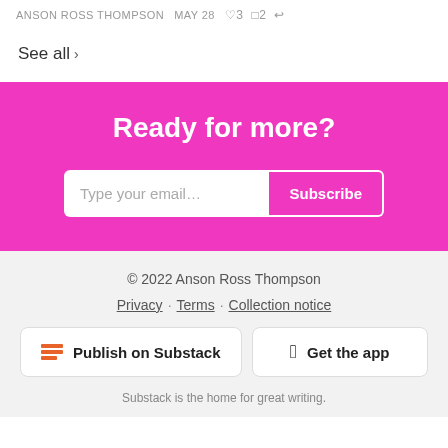ANSON ROSS THOMPSON  MAY 28  ♡3  ◯2  ↪
See all ›
Ready for more?
Type your email… Subscribe
© 2022 Anson Ross Thompson
Privacy · Terms · Collection notice
Publish on Substack   Get the app
Substack is the home for great writing.